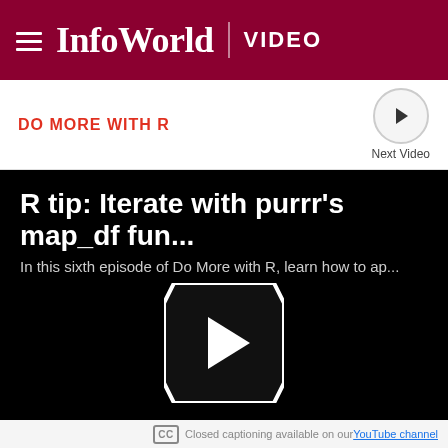InfoWorld | VIDEO
DO MORE WITH R
[Figure (screenshot): Video player with title 'R tip: Iterate with purrr's map_df fun...' and subtitle 'In this sixth episode of Do More with R, learn how to ap...' with a play button in the center on a black background.]
CC Closed captioning available on our YouTube channel